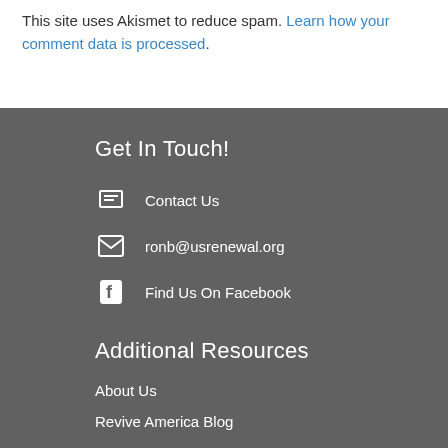This site uses Akismet to reduce spam. Learn how your comment data is processed.
Get In Touch!
Contact Us
ronb@usrenewal.org
Find Us On Facebook
Additional Resources
About Us
Revive America Blog